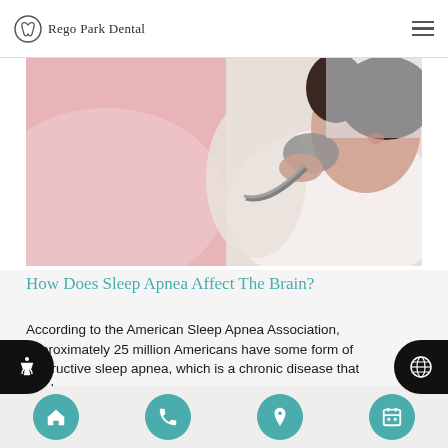Rego Park Dental
[Figure (photo): A woman lying on a pillow holding a CPAP mask to her face, suggesting sleep apnea treatment.]
How Does Sleep Apnea Affect The Brain?
According to the American Sleep Apnea Association, approximately 25 million Americans have some form of obstructive sleep apnea, which is a chronic disease that involves
Home | Phone | Location | Calendar navigation icons